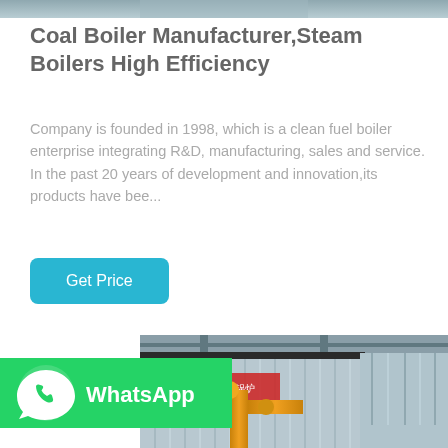[Figure (photo): Top portion of an industrial boiler or equipment image, partially visible at top of page]
Coal Boiler Manufacturer,Steam Boilers High Efficiency
Company is founded in 1998, which is a clean fuel boiler enterprise integrating R&D, manufacturing, sales and service. In the past 20 years of development and innovation,its products have bee...
Get Price
[Figure (photo): Industrial boiler facility interior showing a large corrugated metal boiler unit with yellow gas pipes in the foreground, inside a factory building]
[Figure (logo): WhatsApp green badge with phone icon and WhatsApp text in white]